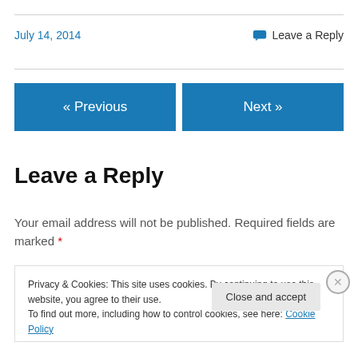July 14, 2014
Leave a Reply
« Previous
Next »
Leave a Reply
Your email address will not be published. Required fields are marked *
Privacy & Cookies: This site uses cookies. By continuing to use this website, you agree to their use.
To find out more, including how to control cookies, see here: Cookie Policy
Close and accept